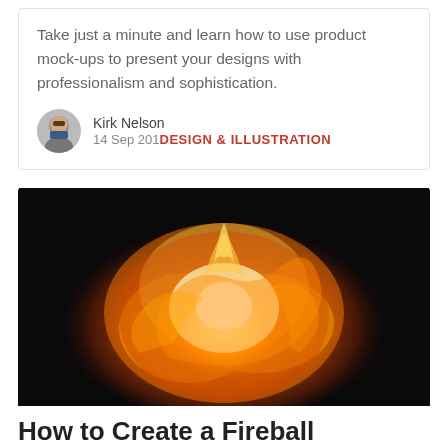Take just a minute and learn how to use product mock-ups to present your designs with professionalism and sophistication.
Kirk Nelson
14 Sep 201
DESIGN & ILLUSTRATION
[Figure (photo): A dramatic fireball explosion against a black background, with vivid orange and yellow flames.]
How to Create a Fireball